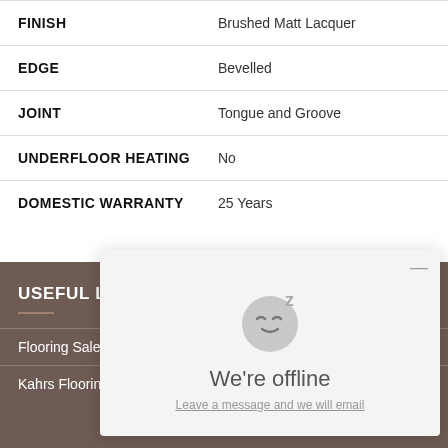| Attribute | Value |
| --- | --- |
| FINISH | Brushed Matt Lacquer |
| EDGE | Bevelled |
| JOINT | Tongue and Groove |
| UNDERFLOOR HEATING | No |
| DOMESTIC WARRANTY | 25 Years |
USEFUL LINKS
Flooring Sale
Kahrs Flooring Sale
[Figure (screenshot): Chat popup overlay showing 'We're offline' message with sleeping face emoji and 'Leave a message and we will email' link]